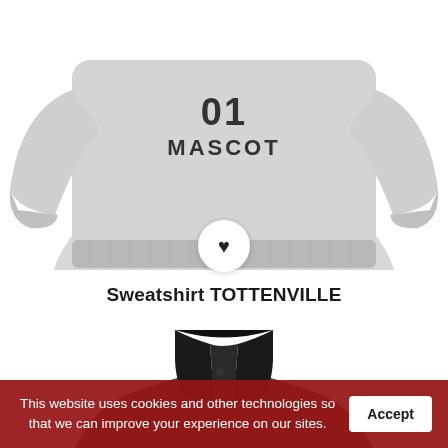[Figure (photo): Grey crewneck sweatshirt with MASCOT logo printed on the chest, shown from the front torso view on a white background]
Sweatshirt TOTTENVILLE
[Figure (photo): Dark olive/green fleece jacket with black high collar/neck, shown from the upper torso and collar area on a white background]
This website uses cookies and other technologies so that we can improve your experience on our sites.